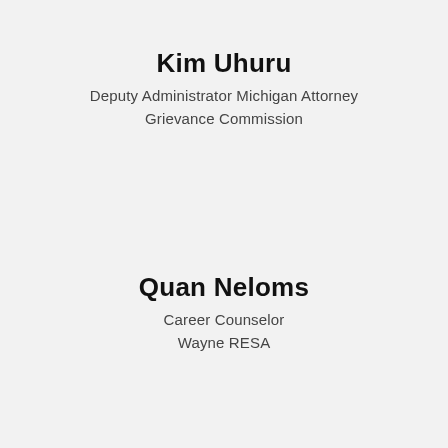Kim Uhuru
Deputy Administrator Michigan Attorney Grievance Commission
Quan Neloms
Career Counselor Wayne RESA